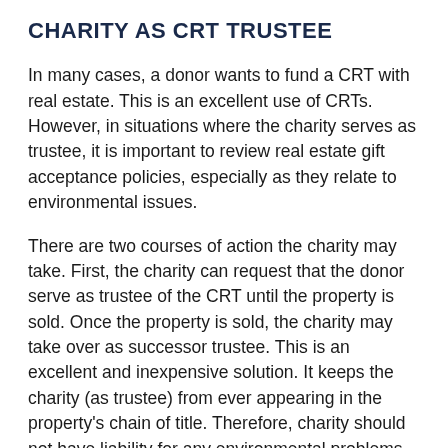CHARITY AS CRT TRUSTEE
In many cases, a donor wants to fund a CRT with real estate. This is an excellent use of CRTs. However, in situations where the charity serves as trustee, it is important to review real estate gift acceptance policies, especially as they relate to environmental issues.
There are two courses of action the charity may take. First, the charity can request that the donor serve as trustee of the CRT until the property is sold. Once the property is sold, the charity may take over as successor trustee. This is an excellent and inexpensive solution. It keeps the charity (as trustee) from ever appearing in the property's chain of title. Therefore, charity should not have liability for any environmental problems.